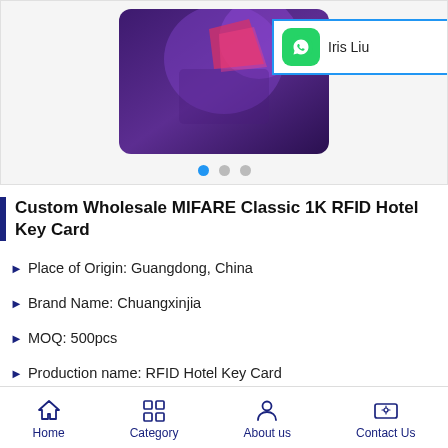[Figure (photo): Product image of RFID hotel key card with purple/dark graphic design, shown in a carousel with 3 slides. A WhatsApp contact popup with Iris Liu is overlaid on the top-right.]
Custom Wholesale MIFARE Classic 1K RFID Hotel Key Card
Place of Origin: Guangdong, China
Brand Name: Chuangxinjia
MOQ: 500pcs
Production name: RFID Hotel Key Card
Material: PVC
Function: Read and write as required
Color: Customized CMYK Color
Size: 85.5mm*54*0.84mm or custom
Home  Category  About us  Contact Us